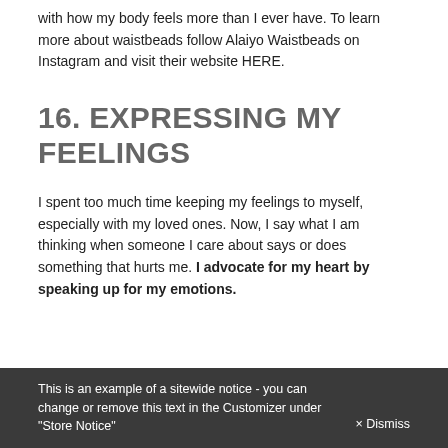with how my body feels more than I ever have. To learn more about waistbeads follow Alaiyo Waistbeads on Instagram and visit their website HERE.
16. EXPRESSING MY FEELINGS
I spent too much time keeping my feelings to myself, especially with my loved ones. Now, I say what I am thinking when someone I care about says or does something that hurts me. I advocate for my heart by speaking up for my emotions.
This is an example of a sitewide notice - you can change or remove this text in the Customizer under "Store Notice"   × Dismiss